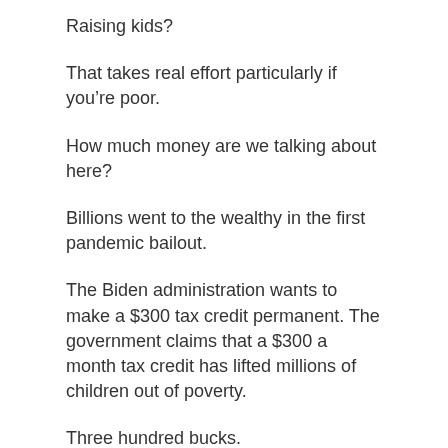Raising kids?
That takes real effort particularly if you’re poor.
How much money are we talking about here?
Billions went to the wealthy in the first pandemic bailout.
The Biden administration wants to make a $300 tax credit permanent. The government claims that a $300 a month tax credit has lifted millions of children out of poverty.
Three hundred bucks.
That’s a Jeff Bezos tip for dinner out.